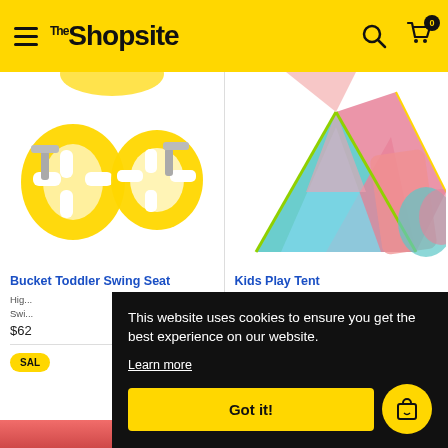The Shopsite
[Figure (photo): Yellow bucket toddler swing seat shown from two angles with silver metal hardware]
[Figure (photo): Colorful kids play tent in blue, pink, coral, and teal colors]
Bucket Toddler Swing Seat
Kids Play Tent
High quality toddler bucket swing seat...
$62
SALE
This website uses cookies to ensure you get the best experience on our website.
Learn more
Got it!